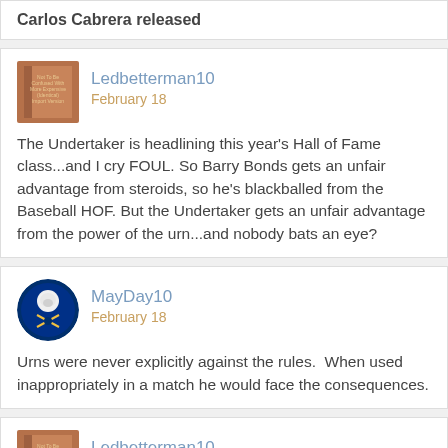Carlos Cabrera released
Ledbetterman10
February 18

The Undertaker is headlining this year's Hall of Fame class...and I cry FOUL. So Barry Bonds gets an unfair advantage from steroids, so he's blackballed from the Baseball HOF. But the Undertaker gets an unfair advantage from the power of the urn...and nobody bats an eye?
MayDay10
February 18

Urns were never explicitly against the rules.  When used inappropriately in a match he would face the consequences.
Ledbetterman10
February 18